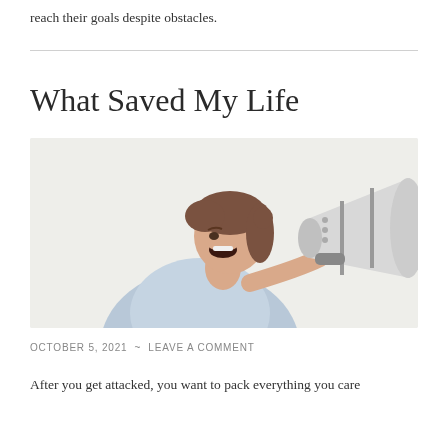reach their goals despite obstacles.
[Figure (photo): A woman in a light blue shirt shouting into a large white megaphone, photographed against a white/light grey background.]
What Saved My Life
OCTOBER 5, 2021  ~  LEAVE A COMMENT
After you get attacked, you want to pack everything you care